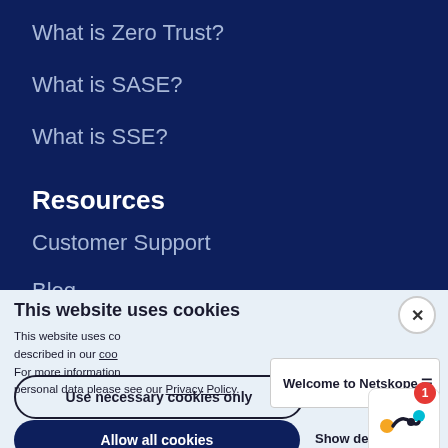What is Zero Trust?
What is SASE?
What is SSE?
Resources
Customer Support
Blog
Netskope Online Community
Resource library
This website uses cookies
This website uses cookies described in our coo... For more information... personal data please see our Privacy Policy.
Welcome to Netskope ≡
Use necessary cookies only
Allow all cookies
Show details ∨